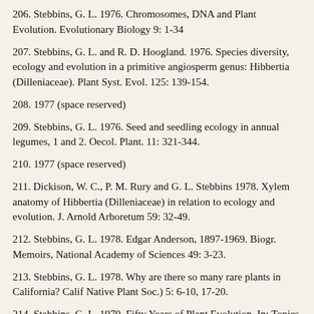206. Stebbins, G. L. 1976. Chromosomes, DNA and Plant Evolution. Evolutionary Biology 9: 1-34
207. Stebbins, G. L. and R. D. Hoogland. 1976. Species diversity, ecology and evolution in a primitive angiosperm genus: Hibbertia (Dilleniaceae). Plant Syst. Evol. 125: 139-154.
208. 1977 (space reserved)
209. Stebbins, G. L. 1976. Seed and seedling ecology in annual legumes, 1 and 2. Oecol. Plant. 11: 321-344.
210. 1977 (space reserved)
211. Dickison, W. C., P. M. Rury and G. L. Stebbins 1978. Xylem anatomy of Hibbertia (Dilleniaceae) in relation to ecology and evolution. J. Arnold Arboretum 59: 32-49.
212. Stebbins, G. L. 1978. Edgar Anderson, 1897-1969. Biogr. Memoirs, National Academy of Sciences 49: 3-23.
213. Stebbins, G. L. 1978. Why are there so many rare plants in California? Calif Native Plant Soc.) 5: 6-10, 17-20.
214. Stebbins, G. L. 1979. Fifty Years of Plant Evolution. In: Topics in Plant Population Biology, O. T. Solbrig, S. Jain, G. B.